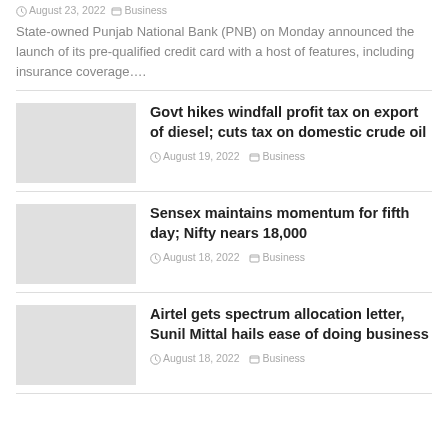August 23, 2022   Business
State-owned Punjab National Bank (PNB) on Monday announced the launch of its pre-qualified credit card with a host of features, including insurance coverage....
Govt hikes windfall profit tax on export of diesel; cuts tax on domestic crude oil
August 19, 2022   Business
Sensex maintains momentum for fifth day; Nifty nears 18,000
August 18, 2022   Business
Airtel gets spectrum allocation letter, Sunil Mittal hails ease of doing business
August 18, 2022   Business